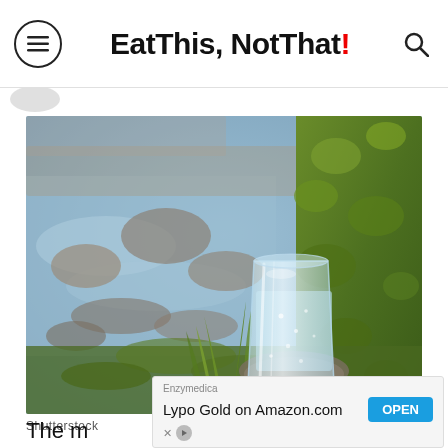Eat This, Not That!
[Figure (photo): A clear glass of water sitting on moss-covered rocks beside a small stream with stones and green grass in the background.]
Shutterstock
The m… far
[Figure (screenshot): Advertisement banner: Enzymedica - Lypo Gold on Amazon.com - OPEN button]